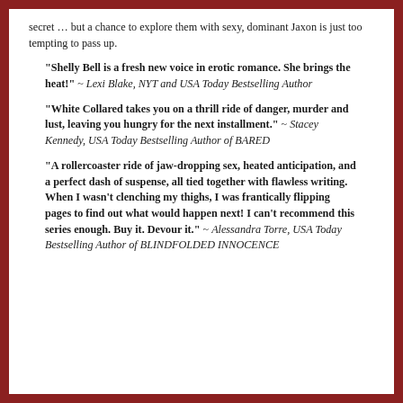secret … but a chance to explore them with sexy, dominant Jaxon is just too tempting to pass up.
“Shelly Bell is a fresh new voice in erotic romance. She brings the heat!” ~ Lexi Blake, NYT and USA Today Bestselling Author
"White Collared takes you on a thrill ride of danger, murder and lust, leaving you hungry for the next installment." ~ Stacey Kennedy, USA Today Bestselling Author of BARED
"A rollercoaster ride of jaw-dropping sex, heated anticipation, and a perfect dash of suspense, all tied together with flawless writing. When I wasn't clenching my thighs, I was frantically flipping pages to find out what would happen next! I can't recommend this series enough. Buy it. Devour it." ~ Alessandra Torre, USA Today Bestselling Author of BLINDFOLDED INNOCENCE